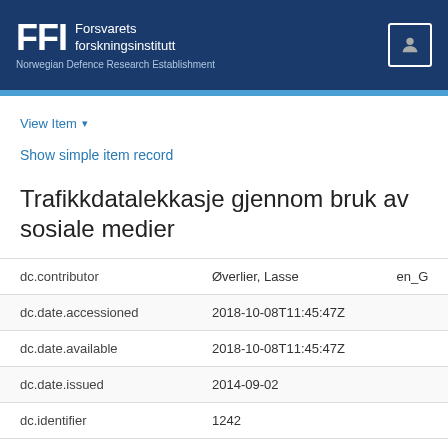FFI Forsvarets forskningsinstitutt Norwegian Defence Research Establishment
View Item ▾
Show simple item record
Trafikkdatalekkasje gjennom bruk av sosiale medier
|  |  |  |
| --- | --- | --- |
| dc.contributor | Øverlier, Lasse | en_G |
| dc.date.accessioned | 2018-10-08T11:45:47Z |  |
| dc.date.available | 2018-10-08T11:45:47Z |  |
| dc.date.issued | 2014-09-02 |  |
| dc.identifier | 1242 |  |